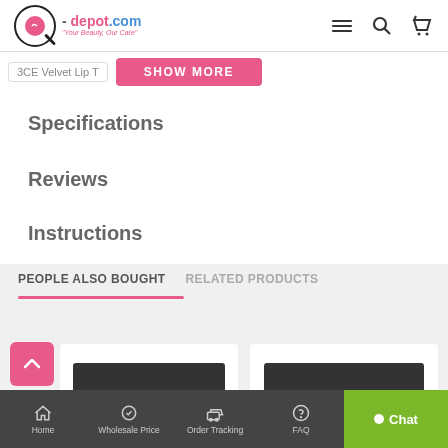q-depot.com — Your Beauty, Our Care
[Figure (screenshot): Show more button with '3CE Velvet Lip T...' thumbnail and pink 'SHOW MORE' button]
Specifications
Reviews
Instructions
PEOPLE ALSO BOUGHT   RELATED PRODUCTS
[Figure (photo): Product card 1 - cosmetics product image placeholder]
[Figure (photo): Product card 2 - cosmetics product image placeholder]
Home  Wholesale Price  Order Tracking  FAQ  Chat